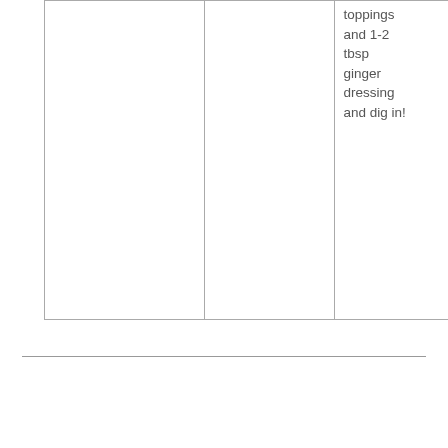|  |  |  |
| --- | --- | --- |
|  |  | toppings and 1-2 tbsp ginger dressing and dig in! |
| Friday Menu | Prep | Grocery Items |
| --- | --- | --- |
| Tarragon Chicken
Broccolini
Rubbed Garlic Bread
I came across this recipe and | Get out a large skillet with a lid. If you don't have a lid you can use a heavy baking sheet or | Boneless Skinless Chicken Breasts
Brocco
Lemon |